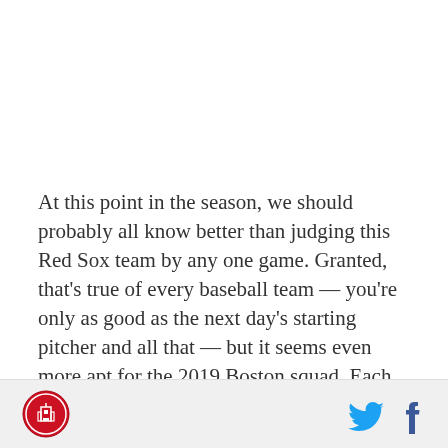At this point in the season, we should probably all know better than judging this Red Sox team by any one game. Granted, that's true of every baseball team — you're only as good as the next day's starting pitcher and all that — but it seems even more apt for the 2019 Boston squad. Each and every time they start to seemingly build momentum, they come crashing back down to Earth. And yet, despite knowing better, I'm going to run with the win they picked up on
[Figure (logo): Red circular team logo with building/tower icon in center]
[Figure (logo): Twitter bird icon and Facebook f icon social media buttons]